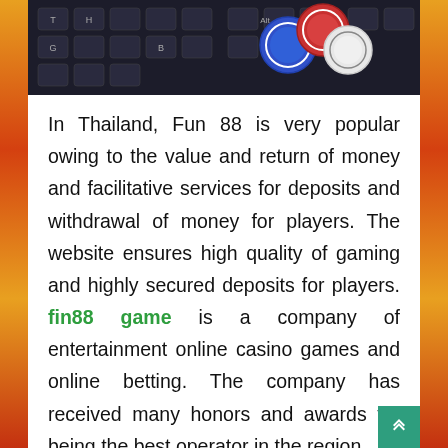[Figure (photo): Photo of casino chips (red, blue, white) stacked on a laptop keyboard, viewed from above at an angle.]
In Thailand, Fun 88 is very popular owing to the value and return of money and facilitative services for deposits and withdrawal of money for players. The website ensures high quality of gaming and highly secured deposits for players. fin88 game is a company of entertainment online casino games and online betting. The company has received many honors and awards for being the best operator in the region.